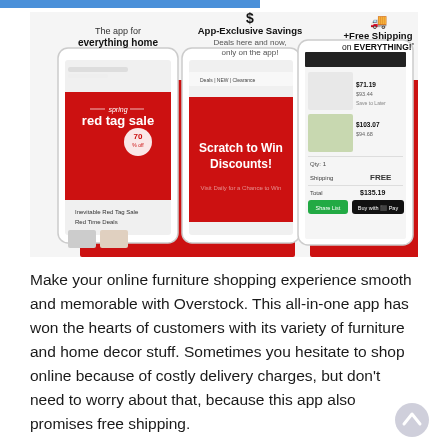[Figure (screenshot): Overstock app promotional banner showing three smartphone screens with captions: 'The app for everything home', 'App-Exclusive Savings - Deals here and now, only on the app!', and '+Free Shipping on EVERYTHING!' The phones show a red tag sale screen, a scratch to win discounts screen, and a checkout screen with free shipping.]
Make your online furniture shopping experience smooth and memorable with Overstock. This all-in-one app has won the hearts of customers with its variety of furniture and home decor stuff. Sometimes you hesitate to shop online because of costly delivery charges, but don't need to worry about that, because this app also promises free shipping.